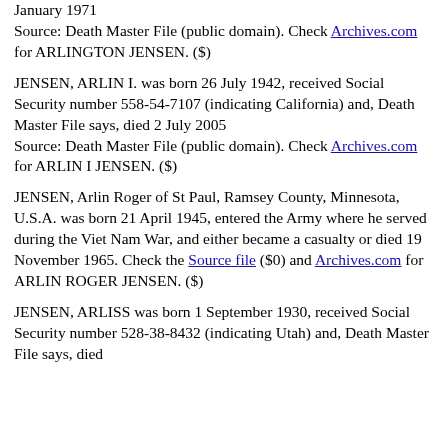(...[continuing from previous page]...) January 1971
Source: Death Master File (public domain). Check Archives.com for ARLINGTON JENSEN. ($)
JENSEN, ARLIN I. was born 26 July 1942, received Social Security number 558-54-7107 (indicating California) and, Death Master File says, died 2 July 2005
Source: Death Master File (public domain). Check Archives.com for ARLIN I JENSEN. ($)
JENSEN, Arlin Roger of St Paul, Ramsey County, Minnesota, U.S.A. was born 21 April 1945, entered the Army where he served during the Viet Nam War, and either became a casualty or died 19 November 1965. Check the Source file ($0) and Archives.com for ARLIN ROGER JENSEN. ($)
JENSEN, ARLISS was born 1 September 1930, received Social Security number 528-38-8432 (indicating Utah) and, Death Master File says, died...